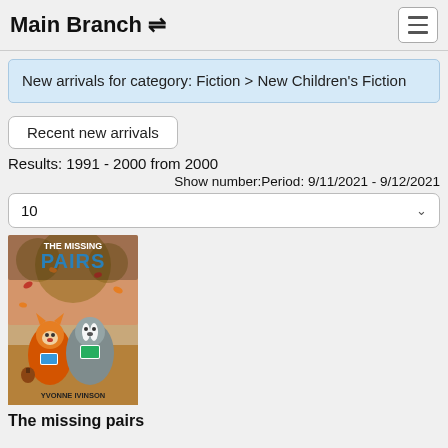Main Branch
New arrivals for category: Fiction > New Children's Fiction
Recent new arrivals
Results: 1991 - 2000 from 2000
Show number:Period: 9/11/2021 - 9/12/2021
10
[Figure (illustration): Book cover of 'The Missing Pairs' by Yvonne Ivinson, showing cartoon animals (fox and badger) with autumn leaves background]
The missing pairs